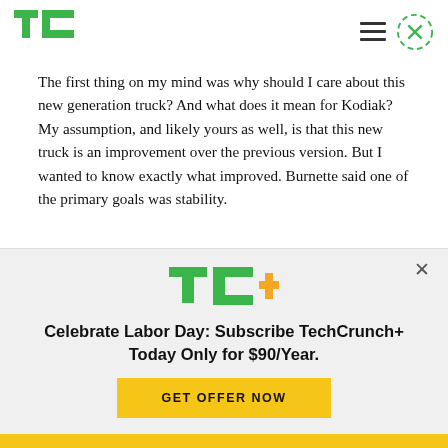TechCrunch logo and navigation
The first thing on my mind was why should I care about this new generation truck? And what does it mean for Kodiak? My assumption, and likely yours as well, is that this new truck is an improvement over the previous version. But I wanted to know exactly what improved. Burnette said one of the primary goals was stability.
[Figure (logo): TC+ logo (TechCrunch Plus) with green TC letters and orange plus sign]
Celebrate Labor Day: Subscribe TechCrunch+ Today Only for $90/Year.
GET OFFER NOW